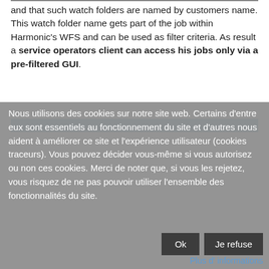and that such watch folders are named by customers name. This watch folder name gets part of the job within Harmonic's WFS and can be used as filter criteria. As result a service operators client can access his jobs only via a pre-filtered GUI.
Nous utilisons des cookies sur notre site web. Certains d'entre eux sont essentiels au fonctionnement du site et d'autres nous aident à améliorer ce site et l'expérience utilisateur (cookies traceurs). Vous pouvez décider vous-même si vous autorisez ou non ces cookies. Merci de noter que, si vous les rejetez, vous risquez de ne pas pouvoir utiliser l'ensemble des fonctionnalités du site.
Ok
Je refuse
Plus d' informations